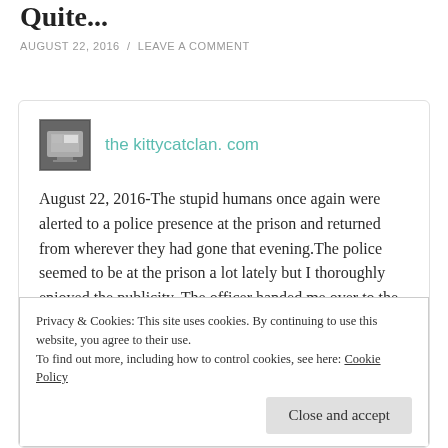Quite...
AUGUST 22, 2016 / LEAVE A COMMENT
the kittycatclan. com
August 22, 2016-The stupid humans once again were alerted to a police presence at the prison and returned from wherever they had gone that evening.The police seemed to be at the prison a lot lately but I thoroughly enjoyed the publicity. The officer handed me over to the
Privacy & Cookies: This site uses cookies. By continuing to use this website, you agree to their use.
To find out more, including how to control cookies, see here: Cookie Policy
Close and accept